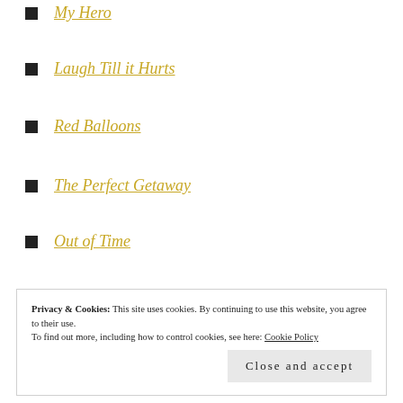My Hero
Laugh Till it Hurts
Red Balloons
The Perfect Getaway
Out of Time
Privacy & Cookies: This site uses cookies. By continuing to use this website, you agree to their use.
To find out more, including how to control cookies, see here: Cookie Policy